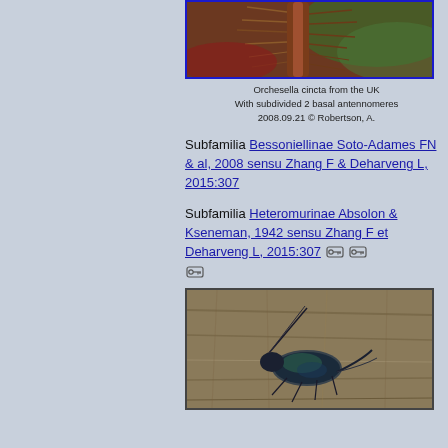[Figure (photo): Close-up macro photo of Orchestella cincta antenna/appendage showing reddish-brown hair-like structures against green background]
Orchesella cincta from the UK
With subdivided 2 basal antennomeres
2008.09.21 © Robertson, A.
Subfamilia Bessoniellinae Soto-Adames FN & al, 2008 sensu Zhang F & Deharveng L, 2015:307
Subfamilia Heteromurinae Absolon & Kseneman, 1942 sensu Zhang F et Deharveng L, 2015:307 [key icons]
[Figure (photo): Macro photo of a springtail insect on wood surface, dark metallic blue-green body with long antenna]